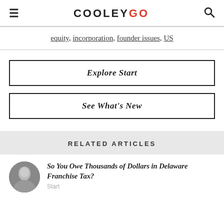COOLEY GO
equity, incorporation, founder issues, US
Explore Start
See What's New
RELATED ARTICLES
So You Owe Thousands of Dollars in Delaware Franchise Tax?
Start